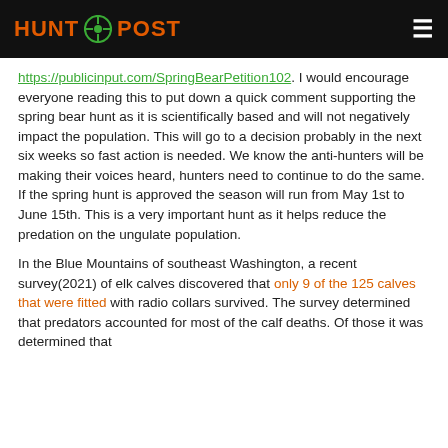HUNT POST
https://publicinput.com/SpringBearPetition102. I would encourage everyone reading this to put down a quick comment supporting the spring bear hunt as it is scientifically based and will not negatively impact the population. This will go to a decision probably in the next six weeks so fast action is needed. We know the anti-hunters will be making their voices heard, hunters need to continue to do the same. If the spring hunt is approved the season will run from May 1st to June 15th. This is a very important hunt as it helps reduce the predation on the ungulate population.
In the Blue Mountains of southeast Washington, a recent survey(2021) of elk calves discovered that only 9 of the 125 calves that were fitted with radio collars survived. The survey determined that predators accounted for most of the calf deaths. Of those it was determined that